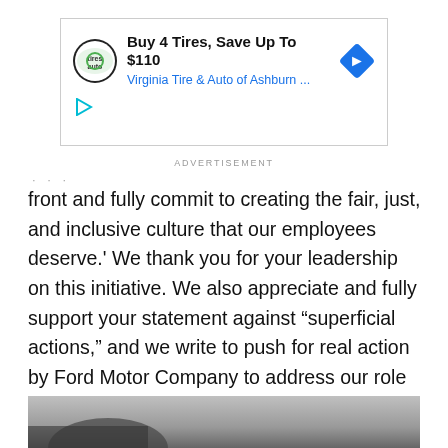[Figure (other): Advertisement banner for Virginia Tire & Auto of Ashburn: 'Buy 4 Tires, Save Up To $110' with company logo and navigation arrow icon]
ADVERTISEMENT
front and fully commit to creating the fair, just, and inclusive culture that our employees deserve.' We thank you for your leadership on this initiative. We also appreciate and fully support your statement against “superficial actions,” and we write to push for real action by Ford Motor Company to address our role in the structures that perpetuate racism in society.
[Figure (photo): Bottom partial image, appears to be a sky or outdoor scene, cropped at page bottom]